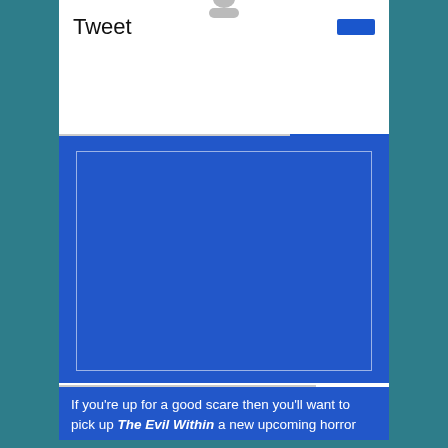Tweet
[Figure (screenshot): Twitter/social media UI screenshot showing a 'Tweet' header with a blue button, a large blue image placeholder box with a white border, and a text excerpt at the bottom about 'The Evil Within']
If you're up for a good scare then you'll want to pick up The Evil Within a new upcoming horror...